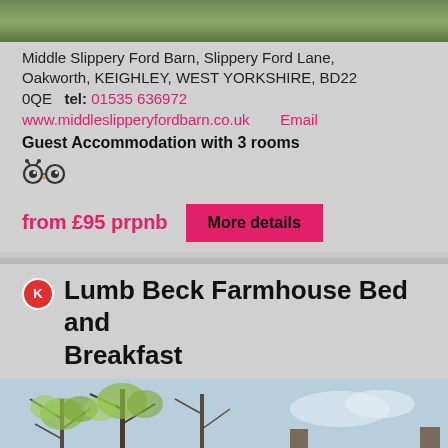[Figure (photo): Exterior photo of Middle Slippery Ford Barn property, green landscape visible at top of first card]
Middle Slippery Ford Barn, Slippery Ford Lane, Oakworth, KEIGHLEY, WEST YORKSHIRE, BD22 0QE   tel: 01535 636972
www.middleslipperyfordbarn.co.uk   Email
Guest Accommodation with 3 rooms
[Figure (logo): TripAdvisor owl icon]
from £95 prpnb
More details
Lumb Beck Farmhouse Bed and Breakfast
[Figure (photo): Exterior photo of Lumb Beck Farmhouse, a stone-built farmhouse with trees and garden in foreground]